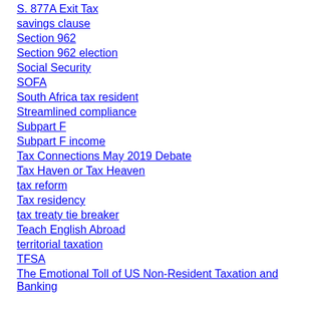S. 877A Exit Tax
savings clause
Section 962
Section 962 election
Social Security
SOFA
South Africa tax resident
Streamlined compliance
Subpart F
Subpart F income
Tax Connections May 2019 Debate
Tax Haven or Tax Heaven
tax reform
Tax residency
tax treaty tie breaker
Teach English Abroad
territorial taxation
TFSA
The Emotional Toll of US Non-Resident Taxation and Banking